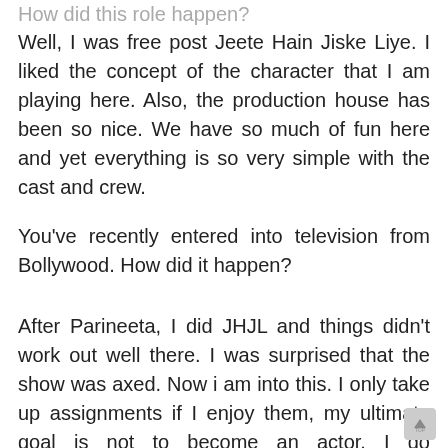How did this role happen?
Well, I was free post Jeete Hain Jiske Liye. I liked the concept of the character that I am playing here. Also, the production house has been so nice. We have so much of fun here and yet everything is so very simple with the cast and crew.
You've recently entered into television from Bollywood. How did it happen?
After Parineeta, I did JHJL and things didn't work out well there. I was surprised that the show was axed. Now i am into this. I only take up assignments if I enjoy them, my ultimate goal is not to become an actor. I do commercials from time to time. I have two kids at home, and I'm